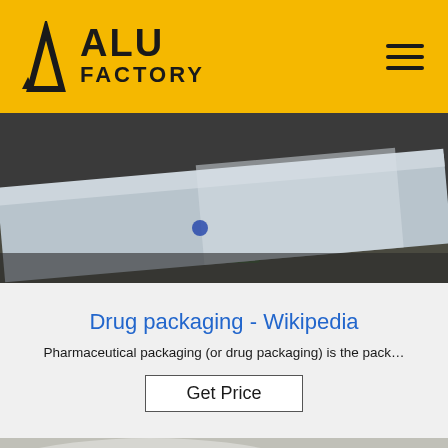ALU FACTORY
[Figure (photo): Aluminum sheet metal on industrial equipment, factory floor]
Drug packaging - Wikipedia
Pharmaceutical packaging (or drug packaging) is the pack…
Get Price
[Figure (photo): Aluminum coils/rolls being processed, with a TOP badge/logo overlay]